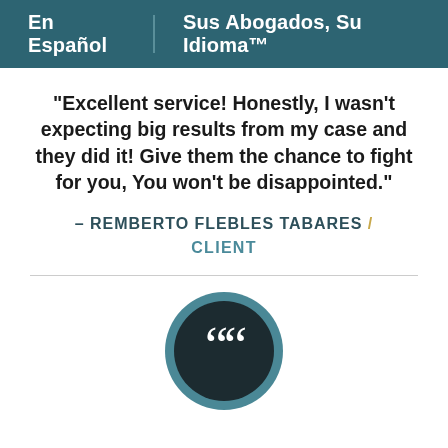En Español | Sus Abogados, Su Idioma™
“Excellent service! Honestly, I wasn't expecting big results from my case and they did it! Give them the chance to fight for you, You won't be disappointed.”
– REMBERTO FLEBLES TABARES / CLIENT
[Figure (illustration): Dark circular icon with large white quotation marks, surrounded by a teal/blue-gray ring border]